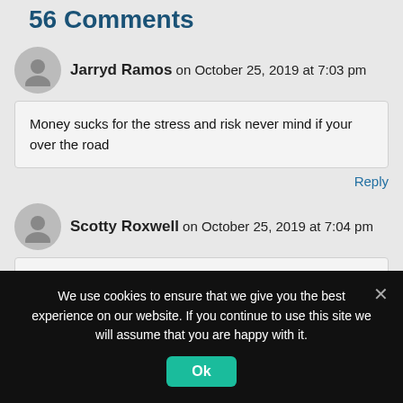56 Comments
Jarryd Ramos on October 25, 2019 at 7:03 pm
Money sucks for the stress and risk never mind if your over the road
Reply
Scotty Roxwell on October 25, 2019 at 7:04 pm
We're trucked.
We use cookies to ensure that we give you the best experience on our website. If you continue to use this site we will assume that you are happy with it.